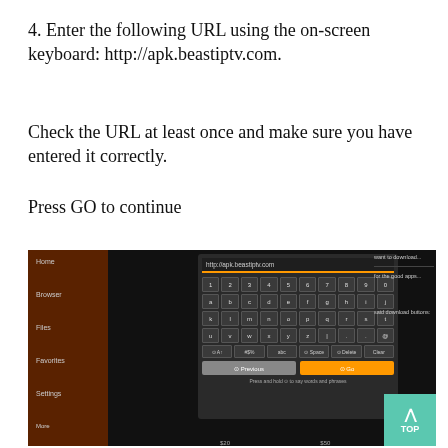4. Enter the following URL using the on-screen keyboard: http://apk.beastiptv.com.
Check the URL at least once and make sure you have entered it correctly.
Press GO to continue
[Figure (screenshot): Screenshot of a TV browser app showing an on-screen keyboard with the URL http://apk.beastiptv.com entered, with a Previous button in grey and a Go button in orange. The app has a dark theme with a sidebar showing Home, Browser, Files, Favorites, Settings menu items.]